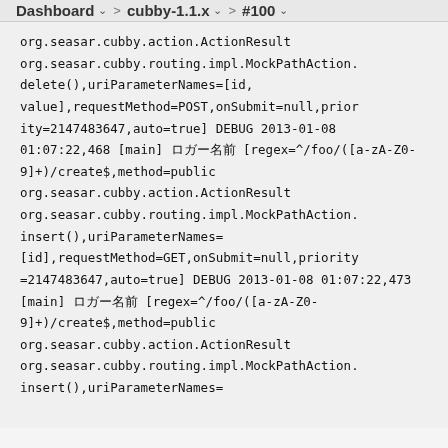Dashboard > cubby-1.1.x > #100
org.seasar.cubby.action.ActionResult
org.seasar.cubby.routing.impl.MockPathAction.delete(),uriParameterNames=[id,value],requestMethod=POST,onSubmit=null,priority=2147483647,auto=true]
DEBUG 2013-01-08 01:07:22,468 [main] ロガー名前 [regex=^/foo/([a-zA-Z0-9]+)/create$,method=public org.seasar.cubby.action.ActionResult
org.seasar.cubby.routing.impl.MockPathAction.insert(),uriParameterNames=
[id],requestMethod=GET,onSubmit=null,priority=2147483647,auto=true]
DEBUG 2013-01-08 01:07:22,473 [main] ロガー名前 [regex=^/foo/([a-zA-Z0-9]+)/create$,method=public org.seasar.cubby.action.ActionResult
org.seasar.cubby.routing.impl.MockPathAction.insert(),uriParameterNames=